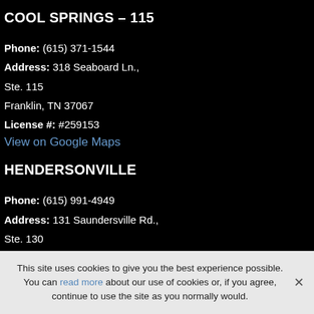COOL SPRINGS – 115
Phone: (615) 371-1544
Address: 318 Seaboard Ln.,
Ste. 115
Franklin, TN 37067
License #: #259153
View on Google Maps
HENDERSONVILLE
Phone: (615) 991-4949
Address: 131 Saundersville Rd.,
Ste. 130
Hendersonville, TN 37075
License #: #263567
This site uses cookies to give you the best experience possible. You can read more about our use of cookies or, if you agree, continue to use the site as you normally would.